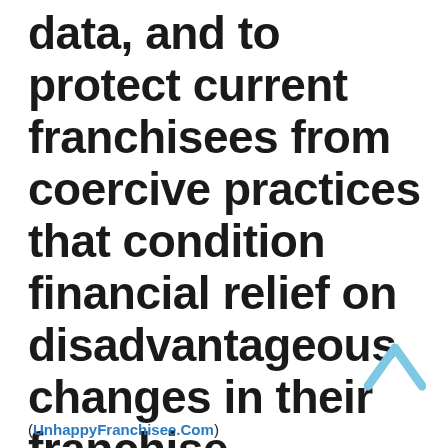data, and to protect current franchisees from coercive practices that condition financial relief on disadvantageous changes in their franchise agreements.
[Figure (illustration): Light blue upward-pointing chevron/caret icon in bottom right area]
(UnhappyFranchisee.Com)